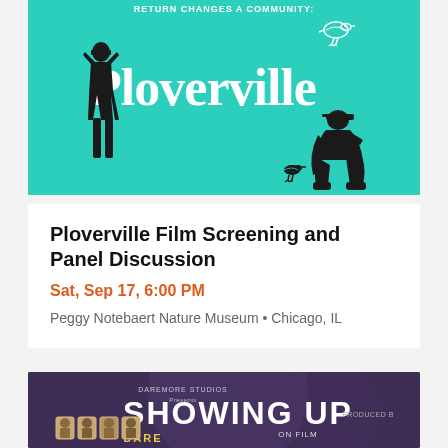[Figure (photo): Ploverville film poster on teal/turquoise background. Shows silhouette of person with binoculars on left, large white 'Ploverville' text in center, small white bird illustration upper right, silhouette of person crouching lower right with small bird. Top text reads 'RETURN CHANGES A COMMUNITY:'.]
Ploverville Film Screening and Panel Discussion
Sat, Sep 17, 6:00 PM
Peggy Notebaert Nature Museum • Chicago, IL
[Figure (photo): Showing Up film poster on dark purple background. Shows 'DAREMORE STUDIOS Presents' text, large white bold text 'SHOWING UP', 'ON FILM', 'DARE' partial text, 'PRODUCED BY' partial text. Several small portrait thumbnails of people visible at bottom left.]